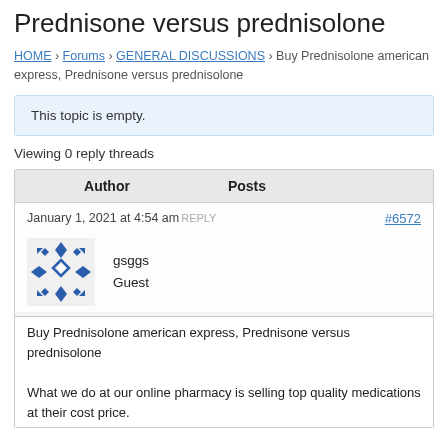Prednisone versus prednisolone
HOME › Forums › GENERAL DISCUSSIONS › Buy Prednisolone american express, Prednisone versus prednisolone
This topic is empty.
Viewing 0 reply threads
| Author | Posts |
| --- | --- |
| January 1, 2021 at 4:54 am REPLY | #6572 |
| gsggs
Guest |  |
Buy Prednisolone american express, Prednisone versus prednisolone
What we do at our online pharmacy is selling top quality medications at their cost price.